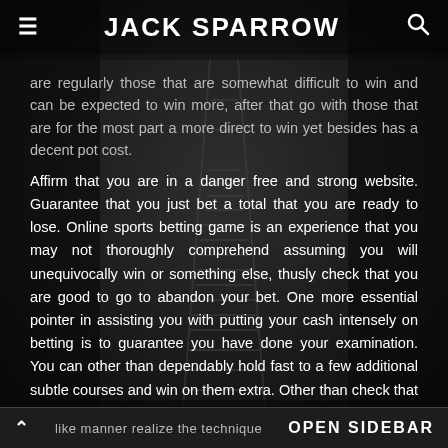≡  JACK SPARROW  🔍
are regularly those that are somewhat difficult to win and can be expected to win more, after that go with those that are for the most part a more direct to win yet besides has a decent pot cost.
Affirm that you are in a danger free and strong website. Guarantee that you just bet a total that you are ready to lose. Online sports betting game is an experience that you may not thoroughly comprehend assuming you will unequivocally win or something else, thusly check that you are good to go to abandon your bet. One more essential pointer in assisting you with putting your cash intensely on betting is to guarantee you have done your examination. You can other than dependably hold fast to a few additional subtle courses and win on them extra. Other than check that you comprehend how a bookmaker runs. In
^  like manner realize the technique...  OPEN SIDEBAR